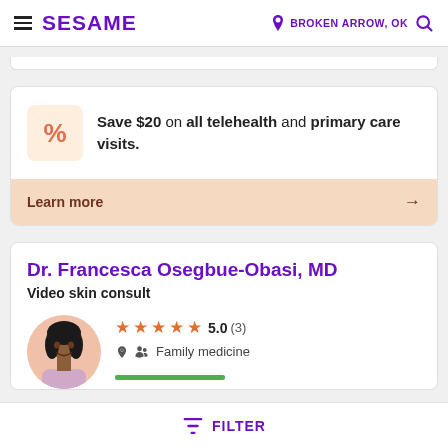SESAME | BROKEN ARROW, OK
Save $20 on all telehealth and primary care visits.
Learn more →
Dr. Francesca Osegbue-Obasi, MD
Video skin consult
★★★★★ 5.0 (3) Family medicine
FILTER